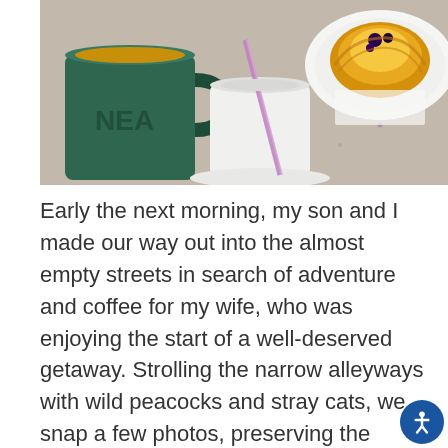[Figure (photo): A coffee cup and pastries on a granite/marble table surface. A green coffee mug with coffee, a white cup with a straw, and a plate with a pastry (pastel de nata) visible in the upper right.]
Early the next morning, my son and I made our way out into the almost empty streets in search of adventure and coffee for my wife, who was enjoying the start of a well-deserved getaway. Strolling the narrow alleyways with wild peacocks and stray cats, we snap a few photos, preserving the memory. We glide through fairy-tale like cobbled streets between ancient buildings, and slide down the railings of steep stairwells, reaching down through the city's famous hills.